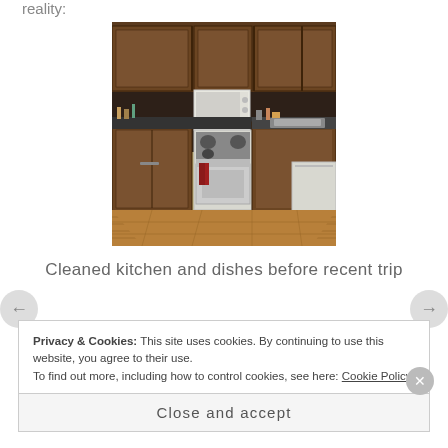reality:
[Figure (photo): Interior kitchen photo showing dark wood upper and lower cabinets, a white electric range with a red towel on the handle, a white microwave above the range, and a countertop with a sink area. Hardwood floor visible.]
Cleaned kitchen and dishes before recent trip
Privacy & Cookies: This site uses cookies. By continuing to use this website, you agree to their use.
To find out more, including how to control cookies, see here: Cookie Policy
Close and accept